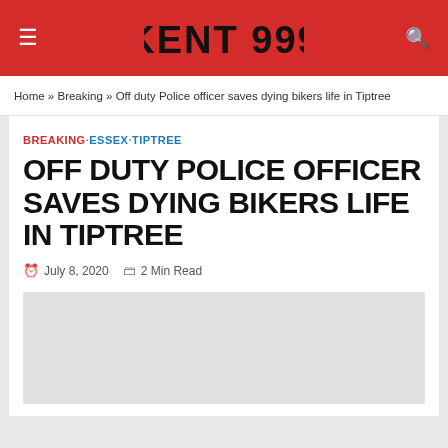KENT 999
Home » Breaking » Off duty Police officer saves dying bikers life in Tiptree
BREAKING·ESSEX·TIPTREE
OFF DUTY POLICE OFFICER SAVES DYING BIKERS LIFE IN TIPTREE
July 8, 2020   2 Min Read
[Figure (photo): Article image placeholder (light grey box)]